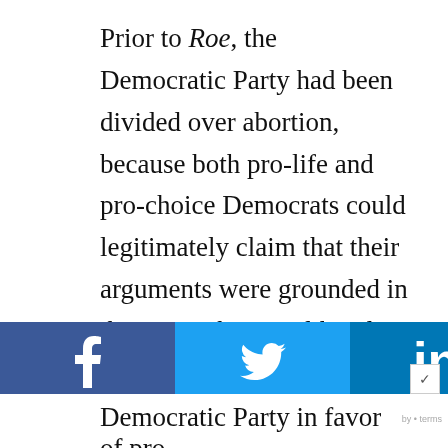Prior to Roe, the Democratic Party had been divided over abortion, because both pro-life and pro-choice Democrats could legitimately claim that their arguments were grounded in the party's historic liberal tradition. But by making one particular set of arguments settled law, Roe bolstered the claims of one group of liberals in this debate and
[Figure (infographic): Social sharing toolbar with buttons for Facebook, Twitter, LinkedIn, Email, Print, and More (...)]
Democratic Party in favor of pro-